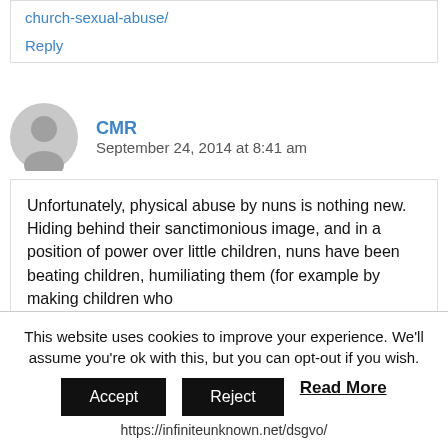church-sexual-abuse/
Reply
CMR
September 24, 2014 at 8:41 am
Unfortunately, physical abuse by nuns is nothing new. Hiding behind their sanctimonious image, and in a position of power over little children, nuns have been beating children, humiliating them (for example by making children who
This website uses cookies to improve your experience. We'll assume you're ok with this, but you can opt-out if you wish.
Accept
Reject
Read More
https://infiniteunknown.net/dsgvo/